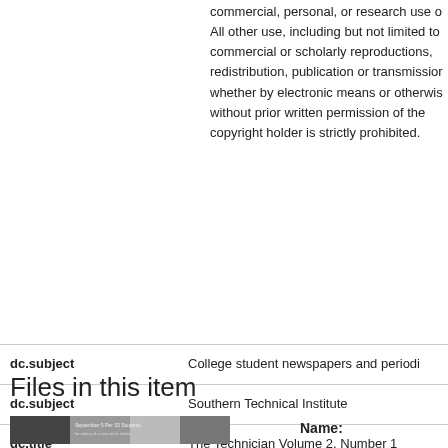commercial, personal, or research use o All other use, including but not limited to commercial or scholarly reproductions, redistribution, publication or transmission whether by electronic means or otherwis without prior written permission of the copyright holder is strictly prohibited.
| field | value |
| --- | --- |
| dc.subject | College student newspapers and periodi |
| dc.subject | Southern Technical Institute |
| dc.title | The Technician Volume 2, Number 1 |
| dc.type | text |
| dc.audience | General Public |
Files in this item
Name: